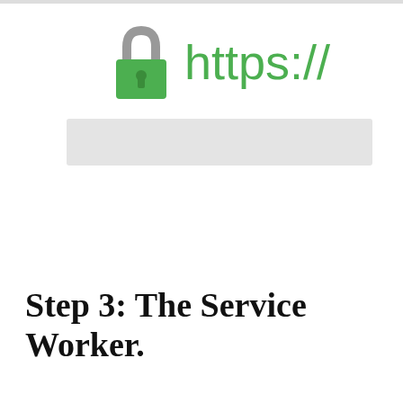[Figure (illustration): A green padlock icon next to green 'https://' text, representing HTTPS/secure connection, with a gray bar below suggesting a browser address bar.]
Step 3: The Service Worker.
This is where the magic happens. A Service Worker is essentially a piece of Javascript that acts as a middleman between browser and host. It automatically installs itself in supported browsers, can intercept requests made to your site, and